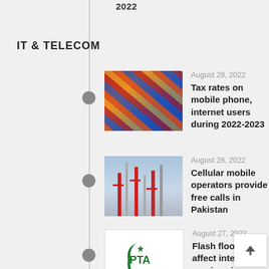2022
IT & TELECOM
[Figure (photo): Colorful smartphones stacked/fanned out]
August 29, 2022
Tax rates on mobile phone, internet users during 2022-2023
[Figure (photo): Cellular/mobile network towers with red and white coloring against blue sky]
August 28, 2022
Cellular mobile operators provide free calls in Pakistan
[Figure (logo): PTA (Pakistan Telecommunication Authority) logo - green crescent and star with PTA text]
August 27, 2022
Flash floods affect internet services in Pakistan